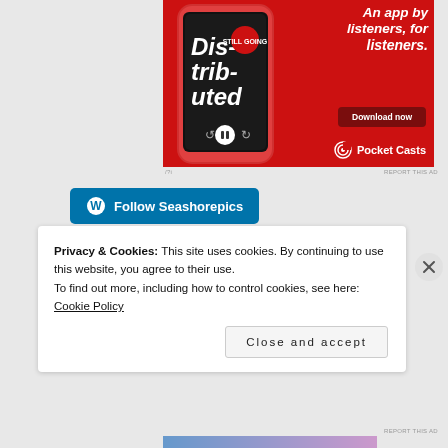[Figure (screenshot): Pocket Casts advertisement banner with red background, showing a smartphone with podcast app, text 'An app by listeners, for listeners.', Download now button, and Pocket Casts logo]
REPORT THIS AD
[Figure (screenshot): Follow Seashorepics button with WordPress icon, blue background]
Privacy & Cookies: This site uses cookies. By continuing to use this website, you agree to their use.
To find out more, including how to control cookies, see here: Cookie Policy
Close and accept
REPORT THIS AD